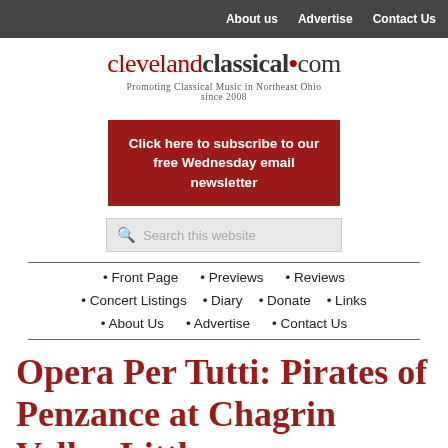About us  Advertise  Contact Us
clevelandclassical•com
Promoting Classical Music in Northeast Ohio since 2008
Click here to subscribe to our free Wednesday email newsletter
Search this website
• Front Page
• Previews
• Reviews
• Concert Listings
• Diary
• Donate
• Links
• About Us
• Advertise
• Contact Us
Opera Per Tutti: Pirates of Penzance at Chagrin Valley Little